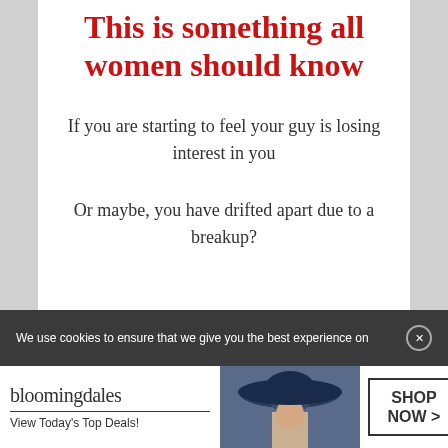This is something all women should know
If you are starting to feel your guy is losing interest in you
Or maybe, you have drifted apart due to a breakup?
We use cookies to ensure that we give you the best experience on
[Figure (infographic): Bloomingdales advertisement banner showing logo, 'View Today's Top Deals!' tagline, woman with large blue hat, and 'SHOP NOW >' button]